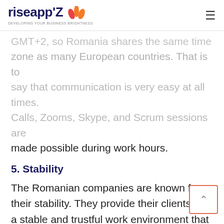riseapp'Z — DEVELOPING YOUR BUSINESS BRIGHTNESS
GMT+2, so Romania shares the same time zone as many European countries. That is to say that communication is very easy at all times. Calls, Zooms, Skype, and Scrum sessions are made possible during work hours.
5. Stability
The Romanian companies are known for their stability. They provide their clients with a stable and trustful work environment that concentrates on partnership and not only on a provider-client relationship. Not to mention the Romanians are very friendly as a nation.
6. Similar culture
The Romanian share a similar lifestyle and